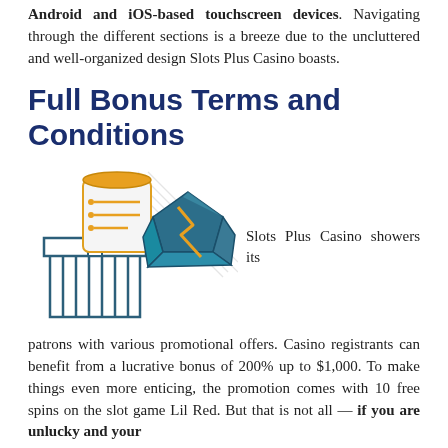Android and iOS-based touchscreen devices. Navigating through the different sections is a breeze due to the uncluttered and well-organized design Slots Plus Casino boasts.
Full Bonus Terms and Conditions
[Figure (illustration): Illustration of a gift box with vertical stripes (teal/dark blue) and a scroll document with orange top, alongside a teal 3D diamond/gem shape. Decorative diagonal lines in background.]
Slots Plus Casino showers its patrons with various promotional offers. Casino registrants can benefit from a lucrative bonus of 200% up to $1,000. To make things even more enticing, the promotion comes with 10 free spins on the slot game Lil Red. But that is not all — if you are unlucky and your